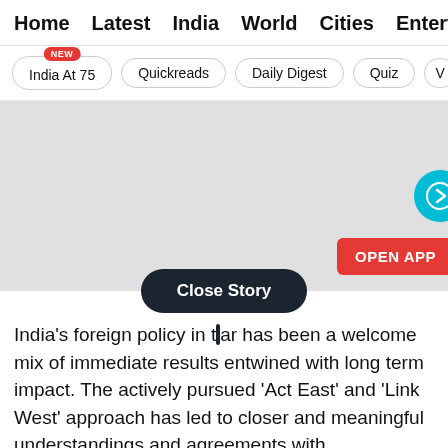Home  Latest  India  World  Cities  Entertainment
India At 75 [NEW]  Quickreads  Daily Digest  Quiz  V
[Figure (screenshot): Gray placeholder image area with a teal circular arrow button on the right side and a red 'OPEN APP' button in the lower right]
Close Story
India's foreign policy in the past year has been a welcome mix of immediate results entwined with long term impact. The actively pursued 'Act East' and 'Link West' approach has led to closer and meaningful understandings and agreements with